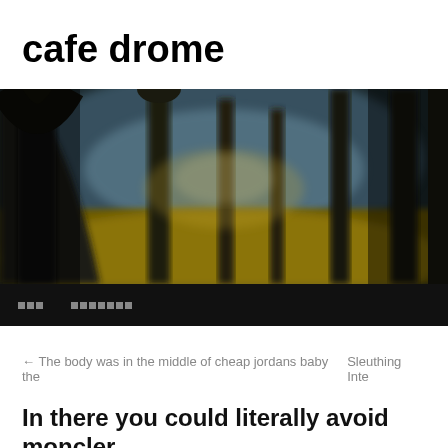cafe drome
[Figure (photo): Blurred atmospheric photo of a tree-lined avenue with arched dark tree trunks forming a colonnade. Golden-yellow foliage visible in the background under a moody sky.]
nnn  nnnnnnn
← The body was in the middle of cheap jordans baby the
Sleuthing Inte
In there you could literally avoid moncler